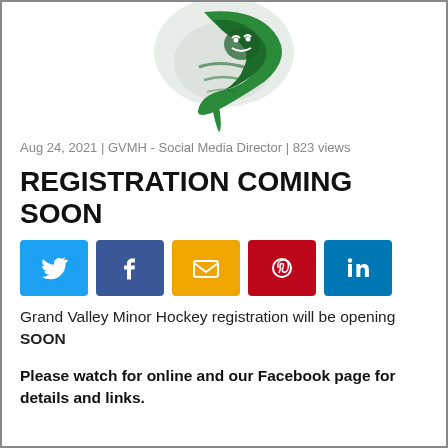[Figure (logo): Green tornado mascot logo for Grand Valley Minor Hockey]
Aug 24, 2021 | GVMH - Social Media Director | 823 views
REGISTRATION COMING SOON
[Figure (infographic): Social media share buttons: Twitter, Facebook, Email, Pinterest, LinkedIn]
Grand Valley Minor Hockey registration will be opening SOON
Please watch for online and our Facebook page for details and links.